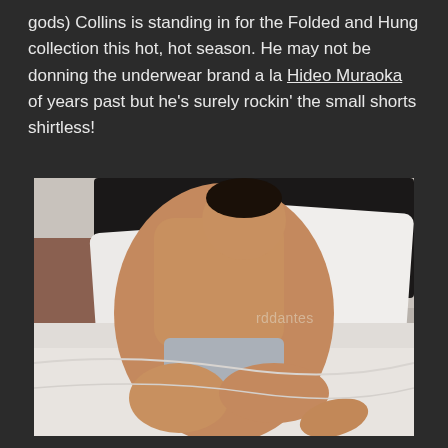gods) Collins is standing in for the Folded and Hung collection this hot, hot season. He may not be donning the underwear brand a la Hideo Muraoka of years past but he's surely rockin' the small shorts shirtless!
[Figure (photo): A shirtless young man sitting on a white bed wearing grey underwear shorts. A watermark reading 'rddantes' appears in the middle right of the image.]